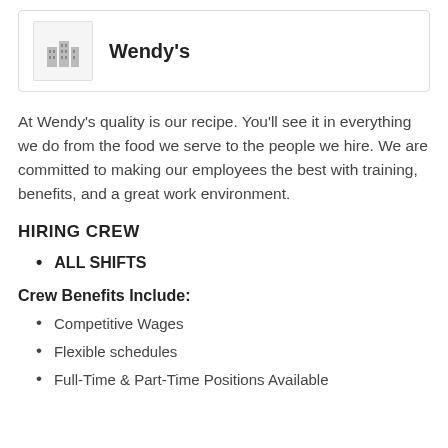[Figure (logo): Wendy's company logo placeholder with building icon]
Wendy's
At Wendy's quality is our recipe. You'll see it in everything we do from the food we serve to the people we hire. We are committed to making our employees the best with training, benefits, and a great work environment.
HIRING CREW
ALL SHIFTS
Crew Benefits Include:
Competitive Wages
Flexible schedules
Full-Time & Part-Time Positions Available